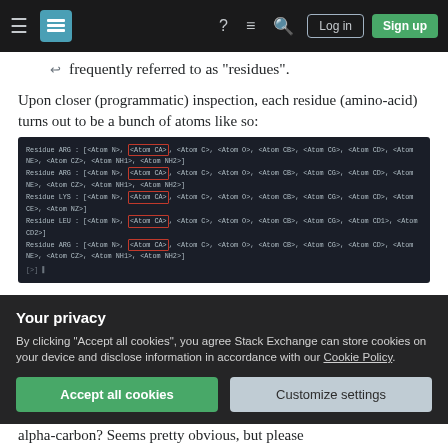Stack Exchange navigation bar with hamburger menu, logo, help, chat, search icons, Log in and Sign up buttons
frequently referred to as "residues".
Upon closer (programmatic) inspection, each residue (amino-acid) turns out to be a bunch of atoms like so:
[Figure (screenshot): Dark-themed code editor screenshot showing Residue ARG, ARG, LYS, LEU, ARG entries with highlighted Atom CA columns in red boxes, listing various atom types]
I was wondering what is the significance of that CA there in each of the residues, and whether i identified it correctly as "alpha-carbon". Protein Data Bank docs refer frequently to a residue's alpha-carbon. If it is indeed the
Your privacy
By clicking "Accept all cookies", you agree Stack Exchange can store cookies on your device and disclose information in accordance with our Cookie Policy.
Accept all cookies    Customize settings
alpha-carbon? Seems pretty obvious, but please